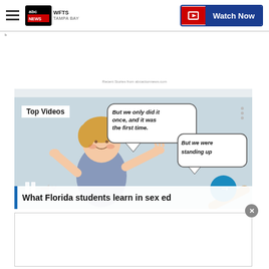WFTS Tampa Bay ABC Action News — Watch Now
Recent Stories from abcactionnews.com
[Figure (screenshot): Video player showing cartoon illustration of a person with speech bubbles reading 'But we only did it once, and it was the first time.' and 'But we were standing up'. Labels: Top Videos. Pause and mute controls visible. Arrow navigation button.]
What Florida students learn in sex ed